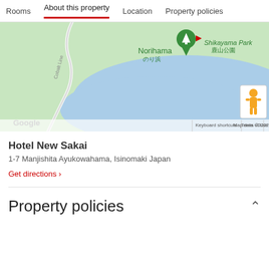Rooms  About this property  Location  Property policies
[Figure (map): Google map showing Norihama (のり浜) area with a green location pin, Cobalt Line road winding through green terrain, a blue water body, Shikayama Park (鹿山公園) label in the upper right, a Google Street View pegman icon in the lower right, and map attribution text: Keyboard shortcuts | Map data ©2022 | Terms of Use]
Hotel New Sakai
1-7 Manjishita Ayukowahama, Isinomaki Japan
Get directions ›
Property policies